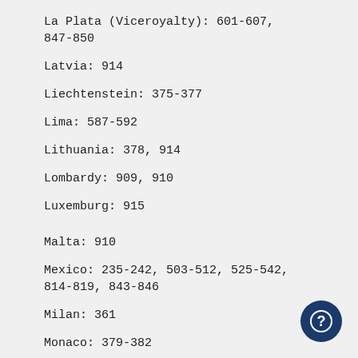La Plata (Viceroyalty): 601-607, 847-850
Latvia: 914
Liechtenstein: 375-377
Lima: 587-592
Lithuania: 378, 914
Lombardy: 909, 910
Luxemburg: 915
Malta: 910
Mexico: 235-242, 503-512, 525-542, 814-819, 843-846
Milan: 361
Monaco: 379-382